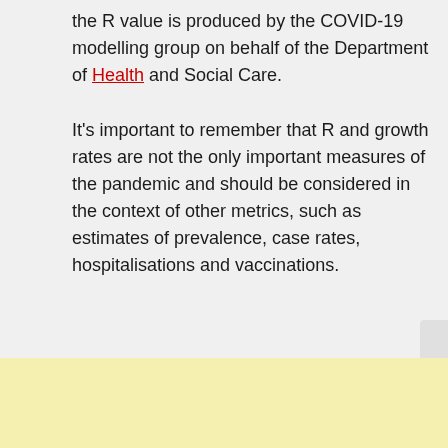the R value is produced by the COVID-19 modelling group on behalf of the Department of Health and Social Care.
It's important to remember that R and growth rates are not the only important measures of the pandemic and should be considered in the context of other metrics, such as estimates of prevalence, case rates, hospitalisations and vaccinations.